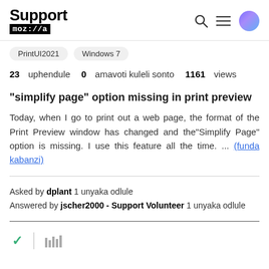Support mozilla
PrintUI2021
Windows 7
23 uphendule  0 amavoti kuleli sonto  1161 views
"simplify page" option missing in print preview
Today, when I go to print out a web page, the format of the Print Preview window has changed and the"Simplify Page" option is missing. I use this feature all the time. ... (funda kabanzi)
Asked by dplant 1 unyaka odlule
Answered by jscher2000 - Support Volunteer 1 unyaka odlule